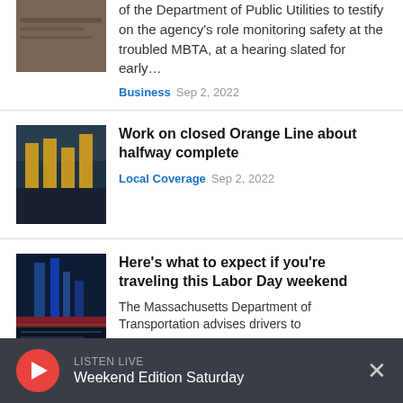of the Department of Public Utilities to testify on the agency's role monitoring safety at the troubled MBTA, at a hearing slated for early…
Business  Sep 2, 2022
Work on closed Orange Line about halfway complete
Local Coverage  Sep 2, 2022
Here's what to expect if you're traveling this Labor Day weekend
The Massachusetts Department of Transportation advises drivers to
LISTEN LIVE  Weekend Edition Saturday